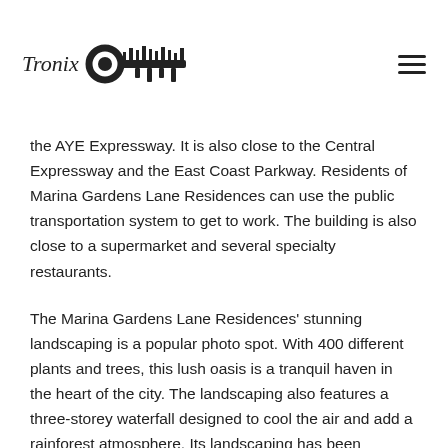Tronix [logo with key icon]
the AYE Expressway. It is also close to the Central Expressway and the East Coast Parkway. Residents of Marina Gardens Lane Residences can use the public transportation system to get to work. The building is also close to a supermarket and several specialty restaurants.
The Marina Gardens Lane Residences' stunning landscaping is a popular photo spot. With 400 different plants and trees, this lush oasis is a tranquil haven in the heart of the city. The landscaping also features a three-storey waterfall designed to cool the air and add a rainforest atmosphere. Its landscaping has been featured in the HBO television show West World.
Marina Gardens Lane Residences is a premier, luxury residential complex in the central business district of Singapore. The